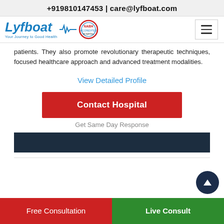+919810147453 | care@lyfboat.com
[Figure (logo): Lyfboat logo with tagline 'Your Journey to Good Health', heartbeat wave, and circular quality badge]
patients. They also promote revolutionary therapeutic techniques, focused healthcare approach and advanced treatment modalities.
View Detailed Profile
Contact Hospital
Get Same Day Response
Free Consultation   Live Consult